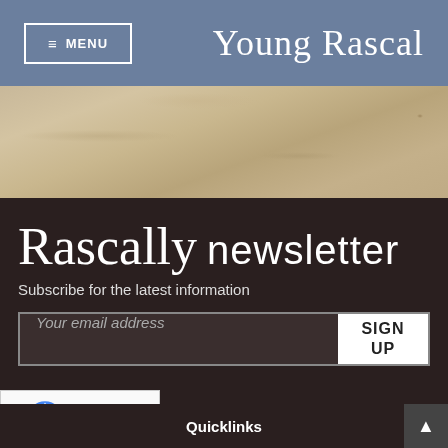≡ MENU   Young Rascal
[Figure (photo): Aged parchment or worn paper texture background in beige/tan tones]
Rascally newsletter
Subscribe for the latest information
Your email address
SIGN UP
Privacy · Terms
Quicklinks